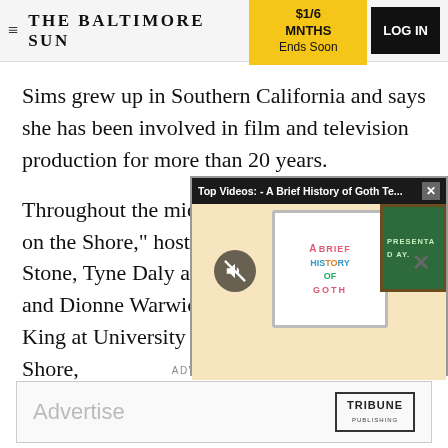THE BALTIMORE SUN | $1/6 MNTHS Ends Soon | LOG IN
Sims grew up in Southern California and says she has been involved in film and television production for more than 20 years.
[Figure (screenshot): Video overlay titled 'Top Videos: - A Brief History of Goth Te...' showing an animated classroom scene with cartoon characters and a whiteboard reading 'A Brief History of Goth'. A mute icon is visible. A chalkboard reads 'PRESENTATION DAY'.]
Throughout the mid- on the Shore," hostin Stone, Tyne Daly and and Dionne Warwick King at University of Maryland, Eastern Shore,
ADVERTISEMENT
[Figure (screenshot): Advertisement box with 'Advertise' text in gray and Tribune Publishing logo on the right.]